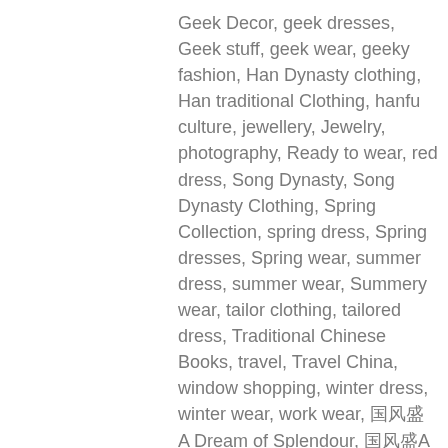Geek Decor, geek dresses, Geek stuff, geek wear, geeky fashion, Han Dynasty clothing, Han traditional Clothing, hanfu culture, jewellery, Jewelry, photography, Ready to wear, red dress, Song Dynasty, Song Dynasty Clothing, Spring Collection, spring dress, Spring dresses, Spring wear, summer dress, summer wear, Summery wear, tailor clothing, tailored dress, Traditional Chinese Books, travel, Travel China, window shopping, winter dress, winter wear, work wear, 🀄🀄🀄 A Dream of Splendour, 🀄🀄🀄A Dream of Splendour, 🀄🀄 🀄🀄🀄🀄🀄🀄, 🀄🀄, 🀄🀄 #Hanfu • Tags: A Dream of Splendour, Ancient Chinese Artworks, ancient Chinese music instruments, Bainjing, china, Chinese Drama television series, Chinese dress, Chinese fashion, Chinese music instruments, Chinese Tradition clothes, Chinese Tradition Dress, Chinese Traditional Clothes, Chinese traditional Dress, Chinese Traditional fashion, 🀄🀄, everyday wear, 🀄🀄,